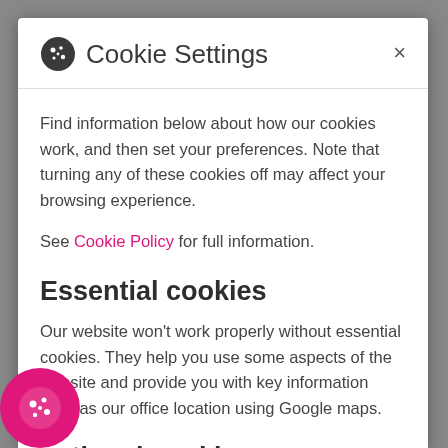Cookie Settings
Find information below about how our cookies work, and then set your preferences. Note that turning any of these cookies off may affect your browsing experience.
See Cookie Policy for full information.
Essential cookies
Our website won't work properly without essential cookies. They help you use some aspects of the website and provide you with key information such as our office location using Google maps.
Functional cookies
functional cookies help us to provide additional